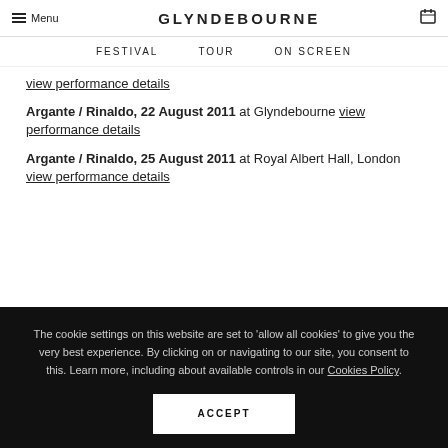Menu | GLYNDEBOURNE
FESTIVAL   TOUR   ON SCREEN
view performance details
Argante / Rinaldo, 22 August 2011 at Glyndebourne view performance details
Argante / Rinaldo, 25 August 2011 at Royal Albert Hall, London view performance details
The cookie settings on this website are set to 'allow all cookies' to give you the very best experience. By clicking on or navigating to our site, you consent to this. Learn more, including about available controls in our Cookies Policy.
ACCEPT